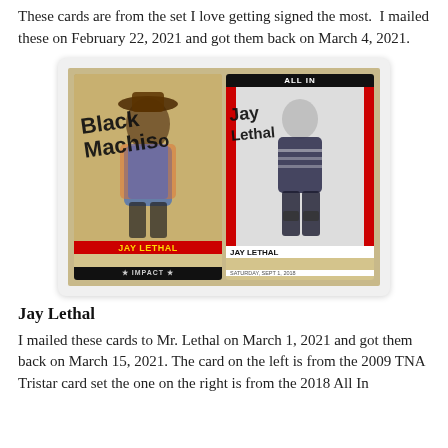These cards are from the set I love getting signed the most.  I mailed these on February 22, 2021 and got them back on March 4, 2021.
[Figure (photo): Two signed Jay Lethal trading cards on a tan/burlap background. Left card is from TNA Impact set showing Jay Lethal in colorful outfit with 'Black Machismo' autograph. Right card is from 2018 All In set showing Jay Lethal in wrestling gear with autograph.]
Jay Lethal
I mailed these cards to Mr. Lethal on March 1, 2021 and got them back on March 15, 2021. The card on the left is from the 2009 TNA Tristar card set the one on the right is from the 2018 All In